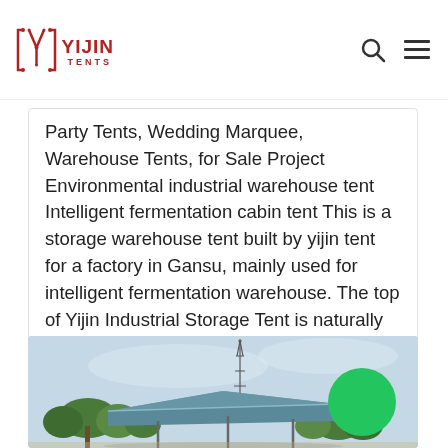[Figure (logo): Yijin Tents logo — red stylized Y-shape icon with 'YIJIN TENTS' text in red]
Party Tents, Wedding Marquee, Warehouse Tents, for Sale Project Environmental industrial warehouse tent Intelligent fermentation cabin tent This is a storage warehouse tent built by yijin tent for a factory in Gansu, mainly used for intelligent fermentation warehouse. The top of Yijin Industrial Storage Tent is naturally translucent...
[Figure (photo): Outdoor photo showing a tent/canopy structure with a blue-grey roof, trees in the background, a communication tower, overcast sky, and a green circular chat/contact button in the bottom right corner.]